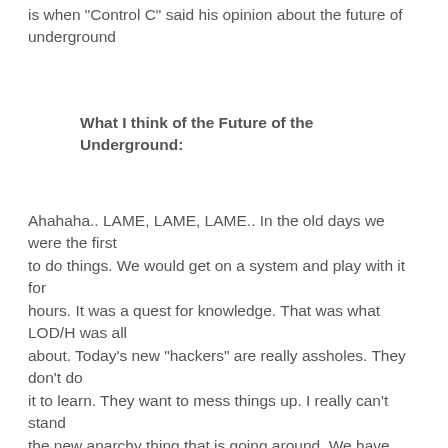is when "Control C" said his opinion about the future of underground
What I think of the Future of the Underground:
Ahahaha.. LAME, LAME, LAME.. In the old days we were the first to do things. We would get on a system and play with it for hours. It was a quest for knowledge. That was what LOD/H was all about. Today's new "hackers" are really assholes. They don't do it to learn. They want to mess things up. I really can't stand the new anarchy thing that is going around. We have kids logging onto the BBS that say "I have 400+ viruses". Well.. That's not cool.